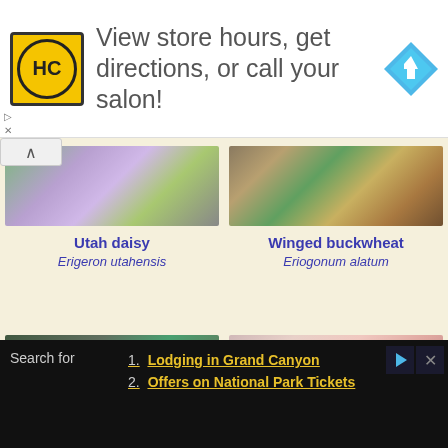[Figure (screenshot): Advertisement banner: HC logo (yellow circle on black square), text 'View store hours, get directions, or call your salon!', blue diamond navigation icon on right]
[Figure (photo): Close-up photo of Utah daisy (purple/lavender daisy flower)]
Utah daisy
Erigeron utahensis
[Figure (photo): Close-up photo of Winged buckwheat (small yellow-green flowers on reddish stems)]
Winged buckwheat
Eriogonum alatum
[Figure (photo): Close-up photo of a plant with thin green stems]
[Figure (photo): Close-up photo of a fluffy white-pink flower cluster]
[Figure (screenshot): Bottom advertisement with dark background showing 'Search for' label and two items: 1. Lodging in Grand Canyon, 2. Offers on National Park Tickets]